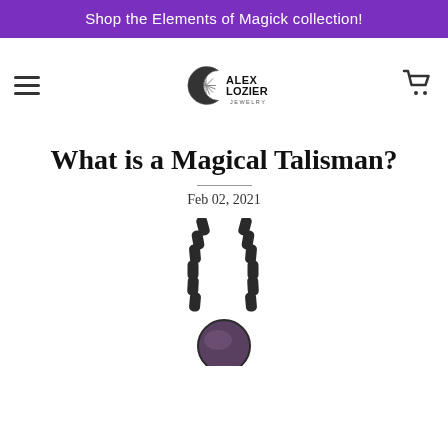Shop the Elements of Magick collection!
[Figure (logo): Alex Lozier Jewelry logo with sun and crescent moon motif]
What is a Magical Talisman?
Feb 02, 2021
[Figure (photo): Photo of a dark chain necklace with a round pendant, partially visible at bottom of page]